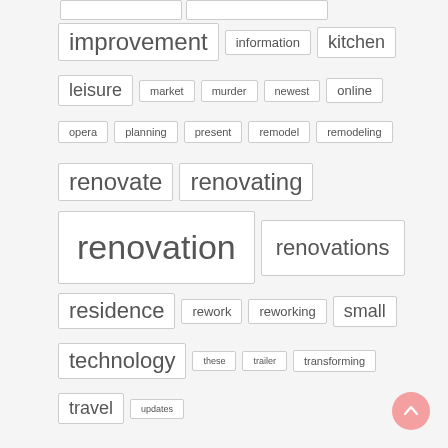[Figure (infographic): Tag cloud showing keywords related to renovation and home improvement. Words sized by frequency/importance: improvement, information, kitchen, leisure, market, murder, newest, online, opera, planning, present, remodel, remodeling, renovate, renovating, renovation (largest), renovations, residence, rework, reworking, small, technology, these, trailer, transforming, travel, updates. Also includes a back-to-top button (pink circle with up arrow) in the bottom right.]